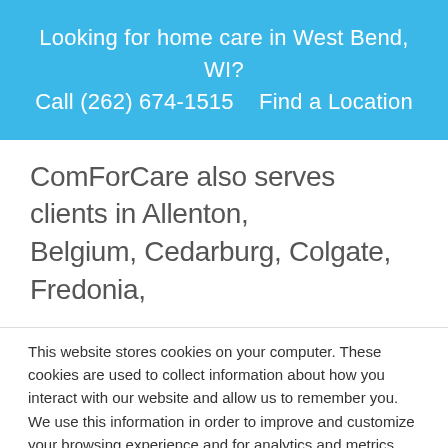Looking for home care in West Bend, WI?
Call (262) 674-1515    Find a Location
ComForCare also serves clients in Allenton, Belgium, Cedarburg, Colgate, Fredonia,
This website stores cookies on your computer. These cookies are used to collect information about how you interact with our website and allow us to remember you. We use this information in order to improve and customize your browsing experience and for analytics and metrics about our visitors both on this website and other media. To find out more about the cookies we use, see our Privacy Policy.
If you decline, your information won't be tracked when you visit this website. A single cookie will be used in your browser to remember your preference not to be tracked.
Accept
Decline